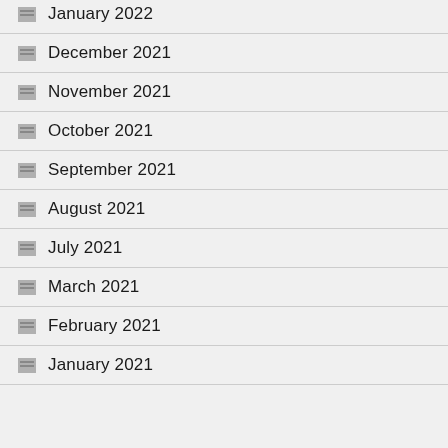January 2022
December 2021
November 2021
October 2021
September 2021
August 2021
July 2021
March 2021
February 2021
January 2021